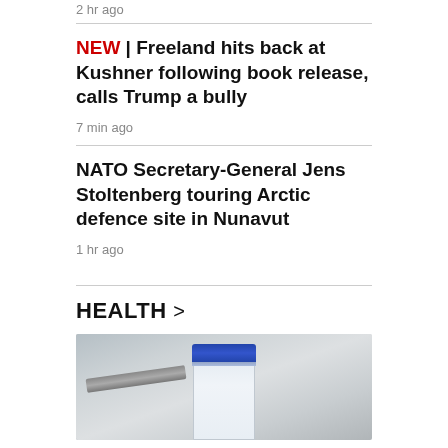2 hr ago
NEW | Freeland hits back at Kushner following book release, calls Trump a bully
7 min ago
NATO Secretary-General Jens Stoltenberg touring Arctic defence site in Nunavut
1 hr ago
HEALTH >
[Figure (photo): Close-up photo of a medical vial with a blue cap and a syringe beside it, on a neutral background]